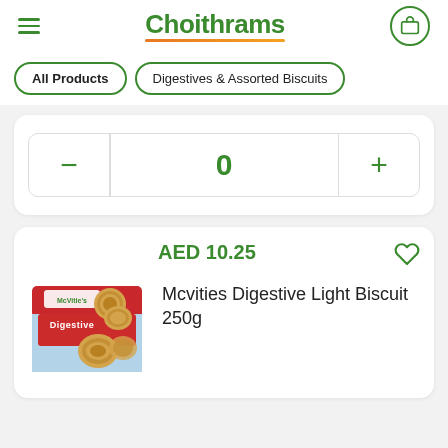Choithrams
All Products
Digestives & Assorted Biscuits
0
AED 10.25
[Figure (photo): McVities Digestive Light Biscuit 250g product package box with biscuits]
Mcvities Digestive Light Biscuit 250g